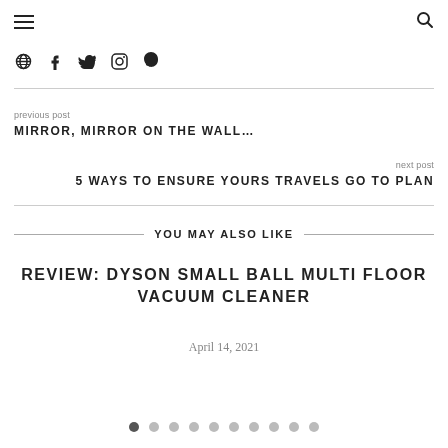☰  🔍
[Figure (other): Social media icons row: globe, facebook, twitter, instagram, pinterest]
previous post
MIRROR, MIRROR ON THE WALL…
next post
5 WAYS TO ENSURE YOURS TRAVELS GO TO PLAN
YOU MAY ALSO LIKE
REVIEW: DYSON SMALL BALL MULTI FLOOR VACUUM CLEANER
April 14, 2021
[Figure (other): Pagination dots: 10 circles, first one filled dark, rest empty]